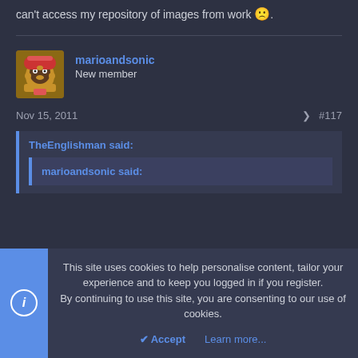I'd leave off with a pithy, witty image summarizing most of this post, but I can't access my repository of images from work 🙁.
marioandsonic — New member
Nov 15, 2011  #117
TheEnglishman said:
marioandsonic said:
This site uses cookies to help personalise content, tailor your experience and to keep you logged in if you register.
By continuing to use this site, you are consenting to our use of cookies.
Accept   Learn more...